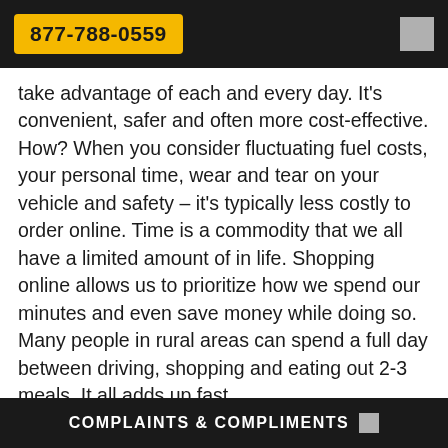877-788-0559
take advantage of each and every day. It's convenient, safer and often more cost-effective. How? When you consider fluctuating fuel costs, your personal time, wear and tear on your vehicle and safety – it's typically less costly to order online. Time is a commodity that we all have a limited amount of in life. Shopping online allows us to prioritize how we spend our minutes and even save money while doing so. Many people in rural areas can spend a full day between driving, shopping and eating out 2-3 meals. It all adds up fast.
Black Friday
Black Friday comes every year with a bang, and
COMPLAINTS & COMPLIMENTS